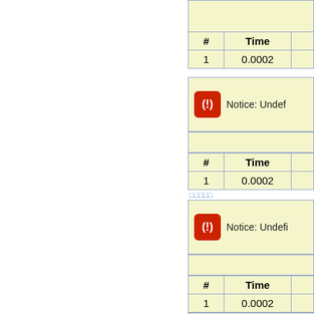| # | Time |  |
| --- | --- | --- |
| 1 | 0.0002 |  |
Notice: Undef...
| # | Time |  |
| --- | --- | --- |
| 1 | 0.0002 |  |
□□□□□
Notice: Undef...
| # | Time |  |
| --- | --- | --- |
| 1 | 0.0002 |  |